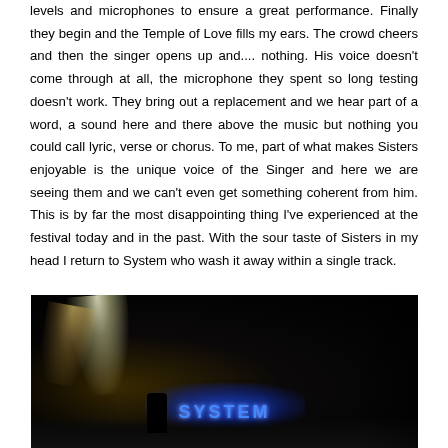levels and microphones to ensure a great performance. Finally they begin and the Temple of Love fills my ears. The crowd cheers and then the singer opens up and.... nothing. His voice doesn't come through at all, the microphone they spent so long testing doesn't work. They bring out a replacement and we hear part of a word, a sound here and there above the music but nothing you could call lyric, verse or chorus. To me, part of what makes Sisters enjoyable is the unique voice of the Singer and here we are seeing them and we can't even get something coherent from him. This is by far the most disappointing thing I've experienced at the festival today and in the past. With the sour taste of Sisters in my head I return to System who wash it away within a single track.
[Figure (photo): Concert stage photo taken at night showing bright spotlights on the left side and blue illuminated 'SYSTEM' text lettering on stage backdrop, with dark crowd silhouettes in foreground against a very dark background.]